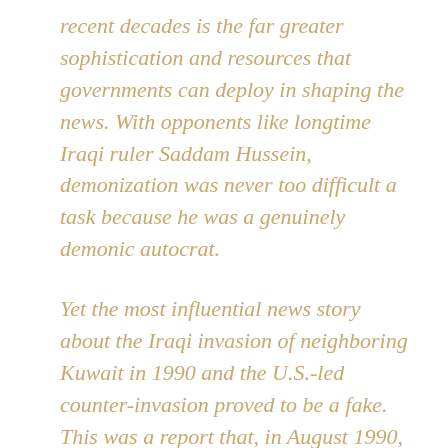recent decades is the far greater sophistication and resources that governments can deploy in shaping the news. With opponents like longtime Iraqi ruler Saddam Hussein, demonization was never too difficult a task because he was a genuinely demonic autocrat.

Yet the most influential news story about the Iraqi invasion of neighboring Kuwait in 1990 and the U.S.-led counter-invasion proved to be a fake. This was a report that, in August 1990, invading Iraqi soldiers had tipped babies out of incubators in a Kuwaiti hospital and left them to die on the floor. A Kuwaiti girl